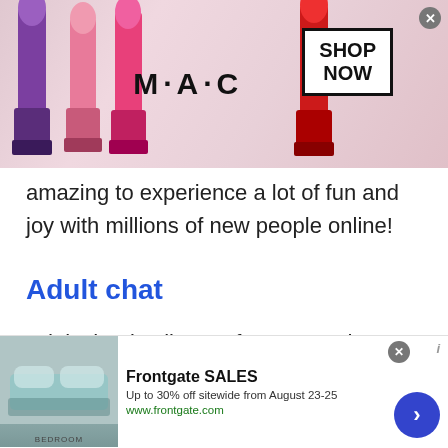[Figure (screenshot): MAC cosmetics advertisement banner with lipsticks on left, MAC logo in center, and SHOP NOW button in a black border box on the right. A close X button is in the top right corner.]
amazing to experience a lot of fun and joy with millions of new people online!
Adult chat
Adult chat is all open for men and women who want to chit chat and learn new things via free online chat. Talk to strangers in Republic of Kosovo at Talkwithstranger men and women chat rooms help you connect with the world absolutely free. If you
[Figure (screenshot): Frontgate SALES advertisement: bedroom image on left, text 'Frontgate SALES', 'Up to 30% off sitewide from August 23-25', 'www.frontgate.com'. Close button and navigation arrow on right.]